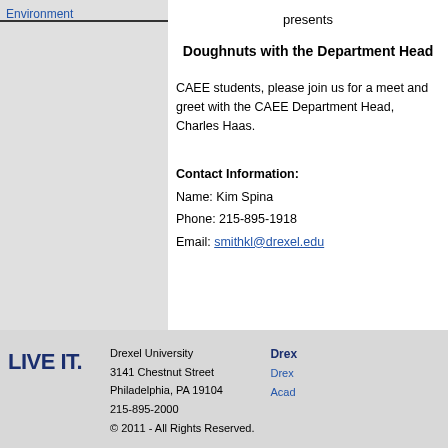Environment
presents
Doughnuts with the Department Head
CAEE students, please join us for a meet and greet with the CAEE Department Head, Charles Haas.
Contact Information:
Name: Kim Spina
Phone: 215-895-1918
Email: smithkl@drexel.edu
Drexel University
3141 Chestnut Street
Philadelphia, PA 19104
215-895-2000
© 2011 - All Rights Reserved.